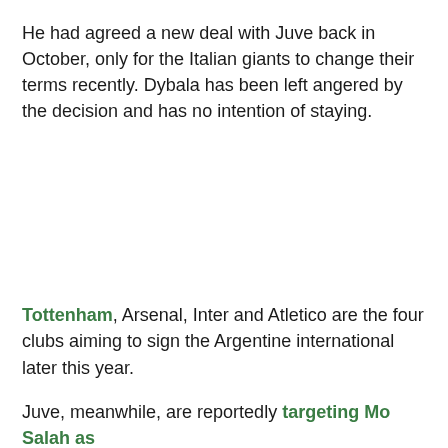He had agreed a new deal with Juve back in October, only for the Italian giants to change their terms recently. Dybala has been left angered by the decision and has no intention of staying.
Tottenham, Arsenal, Inter and Atletico are the four clubs aiming to sign the Argentine international later this year.
Juve, meanwhile, are reportedly targeting Mo Salah as